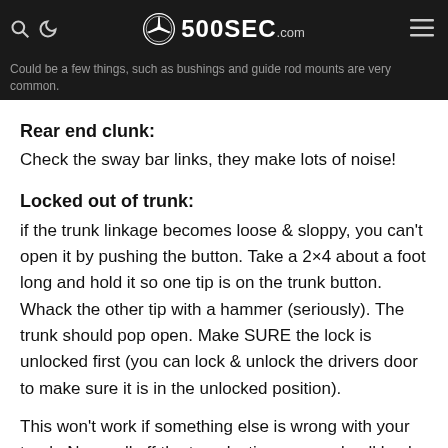500SEC.com
Could be a few things, such as bushings and guide rod mounts are very common.
Rear end clunk:
Check the sway bar links, they make lots of noise!
Locked out of trunk:
if the trunk linkage becomes loose & sloppy, you can't open it by pushing the button. Take a 2×4 about a foot long and hold it so one tip is on the trunk button. Whack the other tip with a hammer (seriously). The trunk should pop open. Make SURE the lock is unlocked first (you can lock & unlock the drivers door to make sure it is in the unlocked position).
This won't work if something else is wrong with your trunk. Now pull off the top plastic cover and pull back the carpet. You can adjust the linkage from here. Make sure it works before